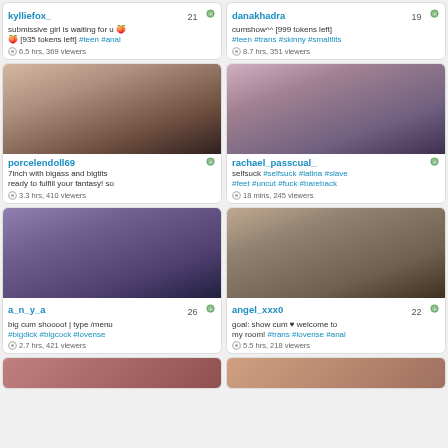kylliefox_ 21 - submissive girl is waiting for u [935 tokens left] #teen #anal - 6.5 hrs, 369 viewers
danakhadra 19 - cumshow^^ [999 tokens left] #teen #trans #skinny #smalltits - 8.7 hrs, 351 viewers
[Figure (photo): Blonde woman webcam stream]
porcelendoll69 - 7inch with bigass and bigtits ready to fulfill your fantasy! so - 3.3 hrs, 410 viewers
[Figure (photo): Brunette woman webcam stream]
rachael_passcual_ - selfsuck #selfsuck #latina #slave #feet #uncut #fuck #bareback - 18 mins, 245 viewers
[Figure (photo): Blonde woman in black outfit webcam stream]
a_n_y_a 26 - big cum shoooot | type /menu #bigdick #bigcock #lovense - 2.7 hrs, 421 viewers
[Figure (photo): Asian woman webcam stream]
angel_xxx0 22 - goal: show cum welcome to my room! #trans #lovense #anal - 5.5 hrs, 218 viewers